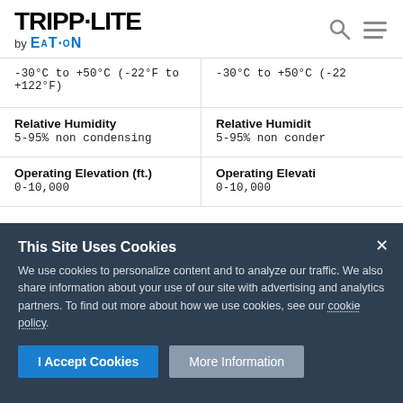Tripp-Lite by EATON
-30°C to +50°C (-22°F to +122°F)
-30°C to +50°C (-22
Relative Humidity
5-95% non condensing
Relative Humidity
5-95% non conden
Operating Elevation (ft.)
0-10,000
Operating Elevation
0-10,000
This Site Uses Cookies
We use cookies to personalize content and to analyze our traffic. We also share information about your use of our site with advertising and analytics partners. To find out more about how we use cookies, see our cookie policy.
I Accept Cookies
More Information